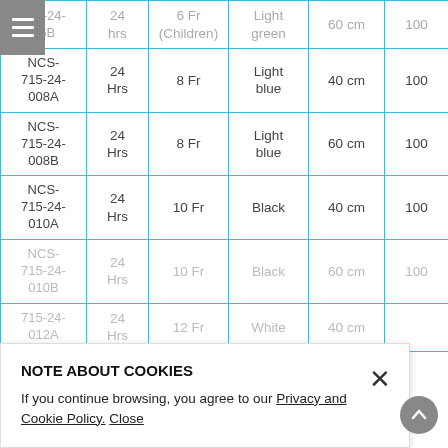| Product Code | Duration | Size | Color | Length | Qty |
| --- | --- | --- | --- | --- | --- |
| NCS-715-24-006B | 24 hrs | 6 Fr (Children) | Light green | 60 cm | 100 |
| NCS-715-24-008A | 24 Hrs | 8 Fr | Light blue | 40 cm | 100 |
| NCS-715-24-008B | 24 Hrs | 8 Fr | Light blue | 60 cm | 100 |
| NCS-715-24-010A | 24 Hrs | 10 Fr | Black | 40 cm | 100 |
| NCS-715-24-010B | 24 Hrs | 10 Fr | Black | 60 cm | 100 |
| NCS-715-24-012A | 24 Hrs | 12 Fr | White | 40 cm | 100 |
NOTE ABOUT COOKIES
If you continue browsing, you agree to our Privacy and Cookie Policy. Close